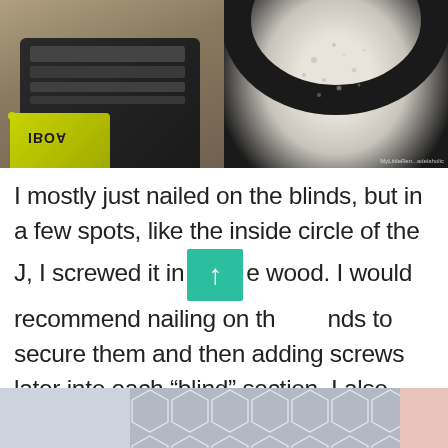[Figure (photo): Left: Ryobi nail gun on wooden floor. Right: Inside circular foam/concrete surface with dark border.]
I mostly just nailed on the blinds, but in a few spots, like the inside circle of the J, I screwed it into the wood. I would recommend nailing on the blinds to secure them and then adding screws later into each “blind” section. I also added hot glue in a few spots like the center of the A because I couldn’t get a nail gun or drill in such a small space.
[Figure (illustration): Bottom banner with gray hexagon geometric pattern, pale blue left section and blush pink right section.]